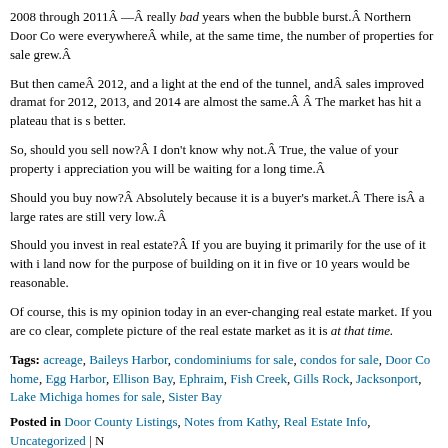2008 through 2011Â —Â really bad years when the bubble burst.Â  Northern Door Co were everywhereÂ while, at the same time, the number of properties for sale grew.Â
But then cameÂ 2012, and a light at the end of the tunnel, andÂ sales improved dramat for 2012, 2013, and 2014 are almost the same.Â Â The market has hit a plateau that is s better.
So, should you sell now?Â  I don't know why not.Â  True, the value of your property i appreciation you will be waiting for a long time.Â
Should you buy now?Â  Absolutely because it is a buyer's market.Â  There isÂ a large rates are still very low.Â
Should you invest in real estate?Â  If you are buying it primarily for the use of it with i land now for the purpose of building on it in five or 10 years would be reasonable.
Of course, this is my opinion today in an ever-changing real estate market. If you are co clear, complete picture of the real estate market as it is at that time.
Tags: acreage, Baileys Harbor, condominiums for sale, condos for sale, Door Co home Egg Harbor, Ellison Bay, Ephraim, Fish Creek, Gills Rock, Jacksonport, Lake Michiga homes for sale, Sister Bay
Posted in Door County Listings, Notes from Kathy, Real Estate Info, Uncategorized | N
« Older Entries
Search for: [Search]